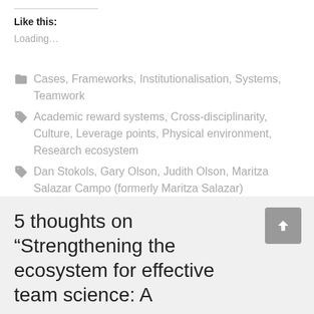Like this:
Loading...
Cases, Frameworks, Institutionalisation, Systems, Teamwork
Academic reward systems, Cross-disciplinarity, Culture, Leverage points, Physical environment, Research ecosystem
Dan Stokols, Gary Olson, Judith Olson, Maritza Salazar Campo (formerly Maritza Salazar)
5 thoughts on “Strengthening the ecosystem for effective team science: A